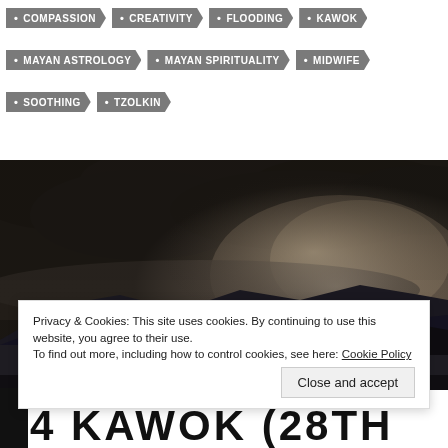COMPASSION
CREATIVITY
FLOODING
KAWOK
MAYAN ASTROLOGY
MAYAN SPIRITUALITY
MIDWIFE
SOOTHING
TZOLKIN
[Figure (photo): Dark stormy sky over a mountain lake with dramatic cloud formations and light breaking through]
Privacy & Cookies: This site uses cookies. By continuing to use this website, you agree to their use.
To find out more, including how to control cookies, see here: Cookie Policy
Close and accept
4 KAWOK (28TH